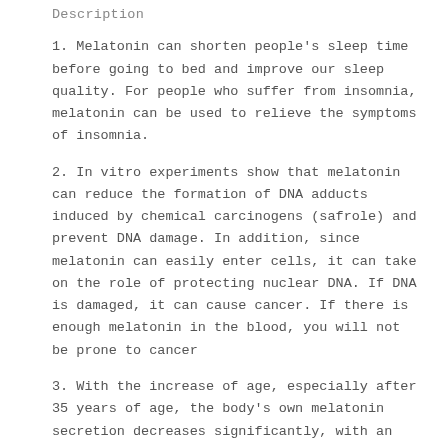Description
1. Melatonin can shorten people's sleep time before going to bed and improve our sleep quality. For people who suffer from insomnia, melatonin can be used to relieve the symptoms of insomnia.
2. In vitro experiments show that melatonin can reduce the formation of DNA adducts induced by chemical carcinogens (safrole) and prevent DNA damage. In addition, since melatonin can easily enter cells, it can take on the role of protecting nuclear DNA. If DNA is damaged, it can cause cancer. If there is enough melatonin in the blood, you will not be prone to cancer
3. With the increase of age, especially after 35 years of age, the body's own melatonin secretion decreases significantly, with an